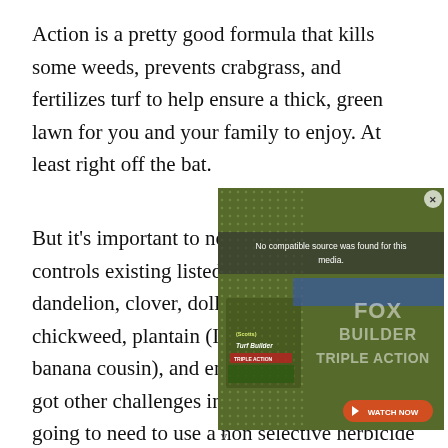Action is a pretty good formula that kills some weeds, prevents crabgrass, and fertilizes turf to help ensure a thick, green lawn for you and your family to enjoy. At least right off the bat.
But it's important to note that Scott's only controls existing listed lawn weeds, including dandelion, clover, dollarweed, ground ivy, chickweed, plantain (I don't think this is the banana cousin), and english daisy. If you've got other challenges in your yard, you're going to need to use a non selective herbicide to clear those out.
[Figure (screenshot): Video ad overlay showing 'No compatible source was found for this media.' message over a Scotts Turf Builder Triple Action product advertisement with a 'WATCH NOW' button and a close (X) button.]